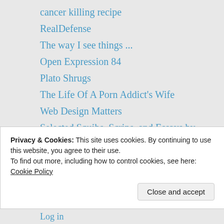cancer killing recipe
RealDefense
The way I see things ...
Open Expression 84
Plato Shrugs
The Life Of A Porn Addict's Wife
Web Design Matters
Selected Squibs, Scrips, and Essays by Joseph Suglia
Ordinary Adventures
vieome
THE LEON KWASI CHRONICLES 🤜🇬🇭🗽🇺🇸
tonysbologna : Honest. Satirical. Observations
Fight For Change
Chitchat
Privacy & Cookies: This site uses cookies. By continuing to use this website, you agree to their use.
To find out more, including how to control cookies, see here: Cookie Policy
Close and accept
Log in